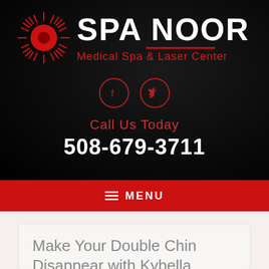[Figure (logo): Spa Noor Medical Spa & Laser Center logo with red sunburst graphic]
[Figure (infographic): Social media icons: Facebook and Twitter circles in red outline]
Call Us Today
508-679-3711
≡ MENU
Make Your Double Chin Disappear with Kybella